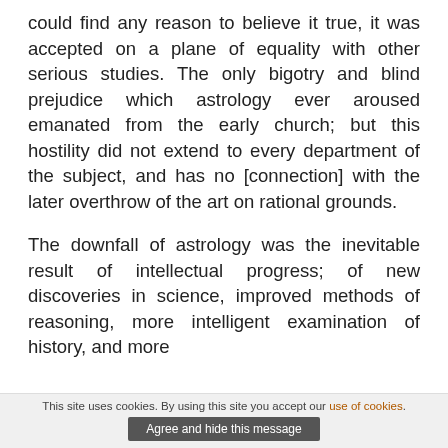could find any reason to believe it true, it was accepted on a plane of equality with other serious studies. The only bigotry and blind prejudice which astrology ever aroused emanated from the early church; but this hostility did not extend to every department of the subject, and has no [connection] with the later overthrow of the art on rational grounds.
The downfall of astrology was the inevitable result of intellectual progress; of new discoveries in science, improved methods of reasoning, more intelligent examination of history, and more discrimination in the estimation of facts.
This site uses cookies. By using this site you accept our use of cookies. Agree and hide this message